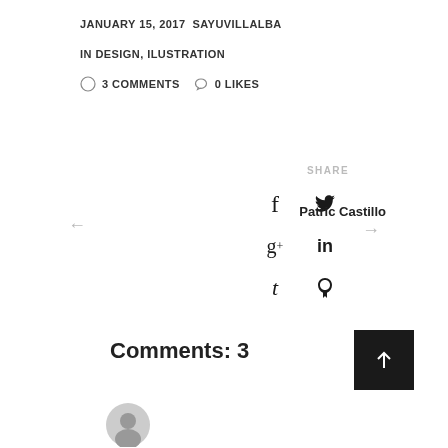JANUARY 15, 2017 SAYUVILLALBA
IN DESIGN, ILUSTRATION
3 COMMENTS  0 LIKES
SHARE
[Figure (infographic): Social share icons: Facebook (f), Twitter (bird), Google+ (g+), LinkedIn (in), Tumblr (t), Pinterest (p)]
← (previous navigation arrow)
Patric Castillo
→ (next navigation arrow)
Comments: 3
[Figure (illustration): Gray circular user avatar icon]
[Figure (other): Back to top button: dark square with upward arrow]